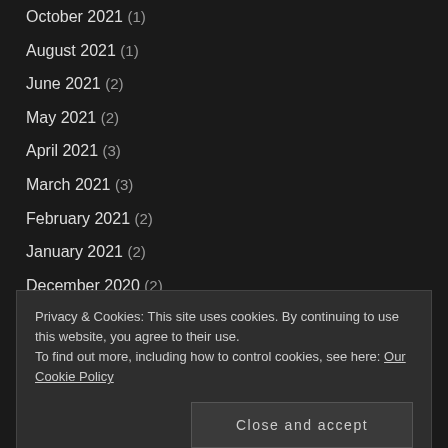October 2021 (1)
August 2021 (1)
June 2021 (2)
May 2021 (2)
April 2021 (3)
March 2021 (3)
February 2021 (2)
January 2021 (2)
December 2020 (2)
November 2020 (6)
September 2020 (1)
August 2020 (1)
Privacy & Cookies: This site uses cookies. By continuing to use this website, you agree to their use. To find out more, including how to control cookies, see here: Our Cookie Policy
Close and accept
February 2020 (3)
January 2020 (?)